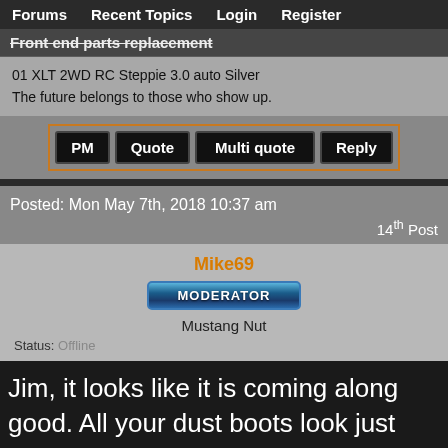Forums   Recent Topics   Login   Register
Front end parts replacement
01 XLT 2WD RC Steppie 3.0 auto Silver
The future belongs to those who show up.
PM   Quote   Multi quote   Reply
Posted: Mon May 7th, 2018 10:37 am
14th Post
Mike69
MODERATOR
Mustang Nut
Status: Offline
Jim, it looks like it is coming along good. All your dust boots look just like mine did when I did my ball joints at 105K miles. Both of